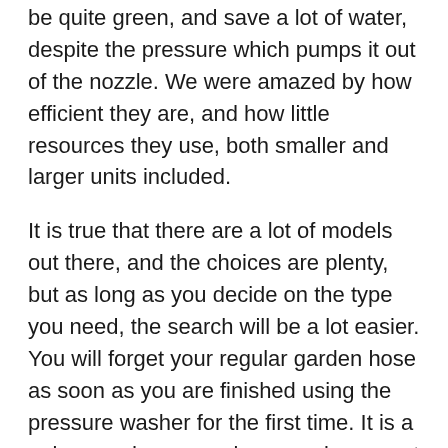be quite green, and save a lot of water, despite the pressure which pumps it out of the nozzle. We were amazed by how efficient they are, and how little resources they use, both smaller and larger units included.
It is true that there are a lot of models out there, and the choices are plenty, but as long as you decide on the type you need, the search will be a lot easier. You will forget your regular garden hose as soon as you are finished using the pressure washer for the first time. It is a unique and empowering experience, not to mention the satisfaction of bringing the shine out of your sidewalk after years, or even decades.
(partial paragraph continues below)